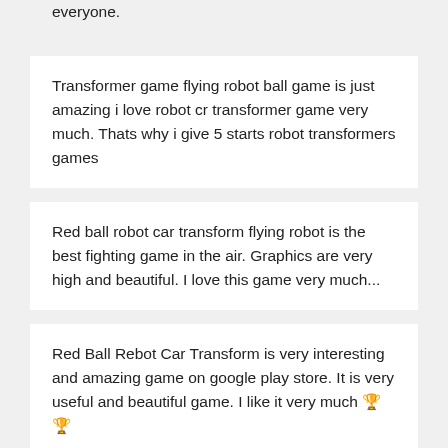everyone.
Transformer game flying robot ball game is just amazing i love robot cr transformer game very much. Thats why i give 5 starts robot transformers games
Red ball robot car transform flying robot is the best fighting game in the air. Graphics are very high and beautiful. I love this game very much...
Red Ball Rebot Car Transform is very interesting and amazing game on google play store. It is very useful and beautiful game. I like it very much 🏆🏆
Red ball robot car transform is really an enjoyable and